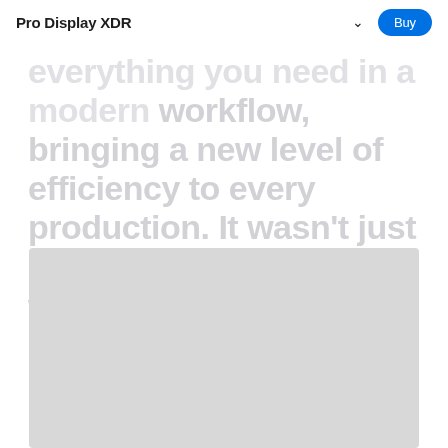Pro Display XDR
everything you need in a modern workflow, bringing a new level of efficiency to every production. It wasn’t just made for the pro workflow. It redefines it.
[Figure (photo): Light gray placeholder rectangle representing a product image of the Pro Display XDR monitor]